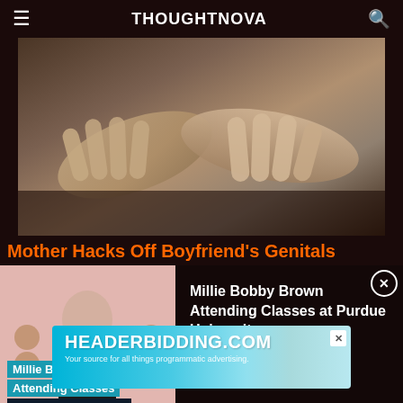THOUGHTNOVA
[Figure (photo): Close-up photo of intertwined hands resting on a surface, dark moody tones]
Mother Hacks Off Boyfriend's Genitals
[Figure (screenshot): Video popup showing Millie Bobby Brown at BAFTA event with overlay text: Millie Bobby Brown Attending Classes at Purdue University]
Millie Bobby Brown Attending Classes at Purdue University
[Figure (other): Advertisement banner for HEADERBIDDING.COM - Your source for all things programmatic advertising.]